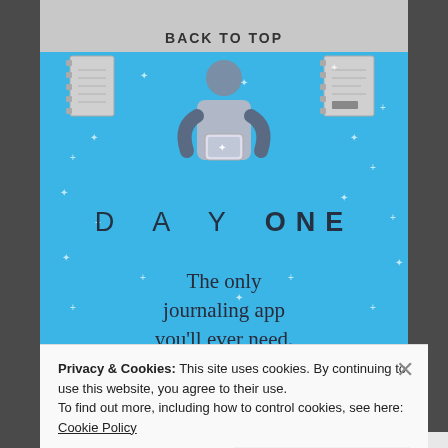[Figure (illustration): Advertisement for Day One journaling app. Blue background with illustration of a person holding a phone, two notebook icons on either side at the top, sparkle/star decorations throughout. Shows text 'DAY ONE' and tagline 'The only journaling app you'll ever need.']
BACK TO TOP
DAY ONE
The only journaling app you'll ever need.
Privacy & Cookies: This site uses cookies. By continuing to use this website, you agree to their use.
To find out more, including how to control cookies, see here: Cookie Policy
Close and accept